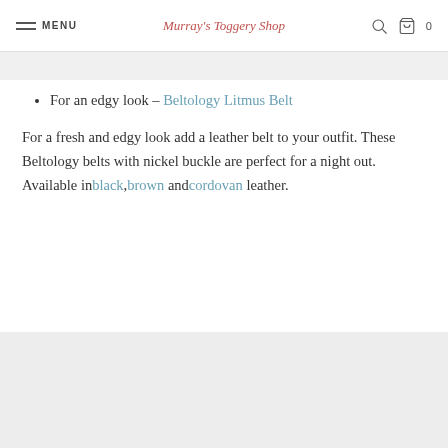MENU | Murray's Toggery Shop | 0
For an edgy look - Beltology Litmus Belt
For a fresh and edgy look add a leather belt to your outfit. These Beltology belts with nickel buckle are perfect for a night out. Available in black, brown and cordovan leather.
[Figure (photo): Grey image placeholder area at the bottom of the page]